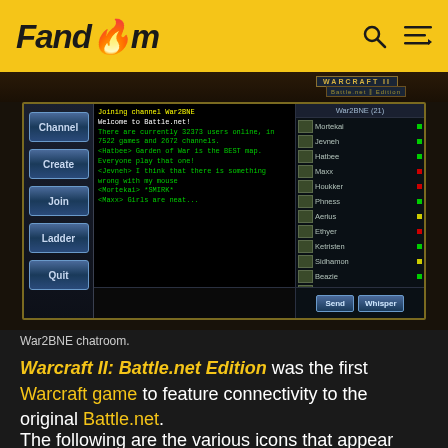Fandom
[Figure (screenshot): War2BNE chatroom screenshot showing Battle.net interface with Channel, Create, Join, Ladder, Quit buttons on left; chat messages in center; user list on right with names: Mortekai, Jevneh, Hatbee, Maxx, Houkker, Phness, Aerius, Ethyer, Ketristen, Sidhamon, Beazie, Malbourn, Drake; Send and Whisper buttons at bottom.]
War2BNE chatroom.
Warcraft II: Battle.net Edition was the first Warcraft game to feature connectivity to the original Battle.net.
The following are the various icons that appear next to